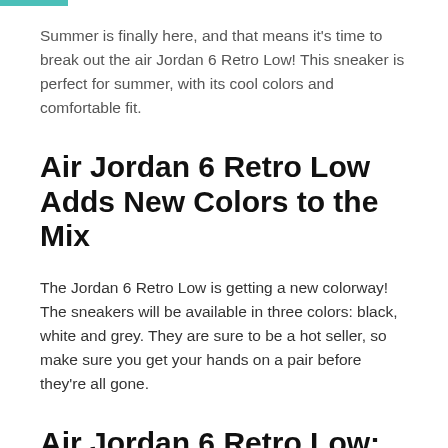Summer is finally here, and that means it's time to break out the air Jordan 6 Retro Low! This sneaker is perfect for summer, with its cool colors and comfortable fit.
Air Jordan 6 Retro Low Adds New Colors to the Mix
The Jordan 6 Retro Low is getting a new colorway! The sneakers will be available in three colors: black, white and grey. They are sure to be a hot seller, so make sure you get your hands on a pair before they're all gone.
Air Jordan 6 Retro Low: A